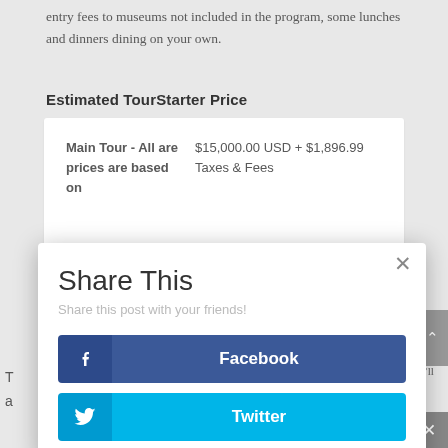entry fees to museums not included in the program, some lunches and dinners dining on your own.
Estimated TourStarter Price
|  |  |
| --- | --- |
| Main Tour - All are prices are based on | $15,000.00 USD + $1,896.99 Taxes & Fees |
Share This
Share this post with your friends!
Facebook
Twitter